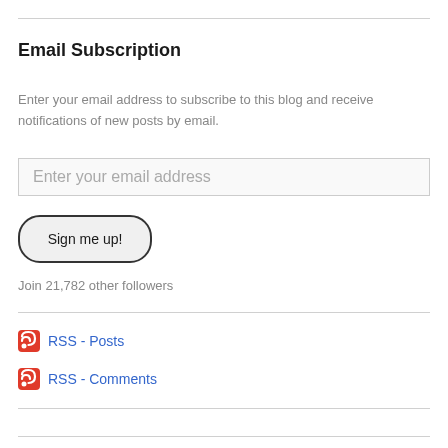Email Subscription
Enter your email address to subscribe to this blog and receive notifications of new posts by email.
Enter your email address
Sign me up!
Join 21,782 other followers
RSS - Posts
RSS - Comments